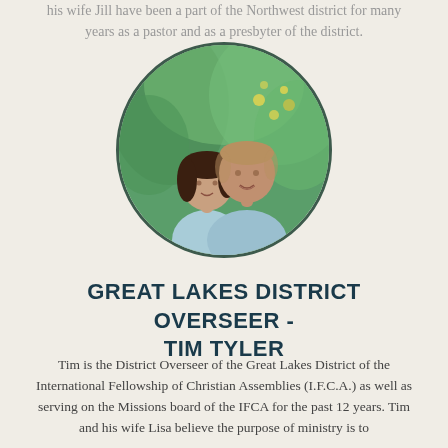his wife Jill have been a part of the Northwest district for many years as a pastor and as a presbyter of the district.
[Figure (photo): Circular portrait photo of a couple (Tim Tyler and his wife Lisa) smiling outdoors with greenery in the background.]
GREAT LAKES DISTRICT OVERSEER - TIM TYLER
Tim is the District Overseer of the Great Lakes District of the International Fellowship of Christian Assemblies (I.F.C.A.) as well as serving on the Missions board of the IFCA for the past 12 years. Tim and his wife Lisa believe the purpose of ministry is to